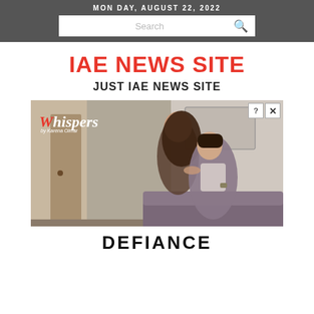MONDAY, AUGUST 22, 2022
Search
IAE NEWS SITE
JUST IAE NEWS SITE
[Figure (illustration): Advertisement for 'Whispers' featuring a romantic couple illustration with the title 'DEFIANCE' at the bottom on torn paper. The ad shows a woman and man in an embrace, with the Whispers logo in the top left corner, and close/info buttons in the top right corner.]